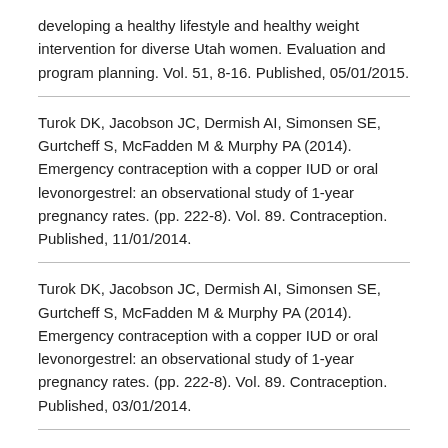developing a healthy lifestyle and healthy weight intervention for diverse Utah women. Evaluation and program planning. Vol. 51, 8-16. Published, 05/01/2015.
Turok DK, Jacobson JC, Dermish AI, Simonsen SE, Gurtcheff S, McFadden M & Murphy PA (2014). Emergency contraception with a copper IUD or oral levonorgestrel: an observational study of 1-year pregnancy rates. (pp. 222-8). Vol. 89. Contraception. Published, 11/01/2014.
Turok DK, Jacobson JC, Dermish AI, Simonsen SE, Gurtcheff S, McFadden M & Murphy PA (2014). Emergency contraception with a copper IUD or oral levonorgestrel: an observational study of 1-year pregnancy rates. (pp. 222-8). Vol. 89. Contraception. Published, 03/01/2014.
Turok DK, Jacobson JC, Dermish AI, Simonsen SE,